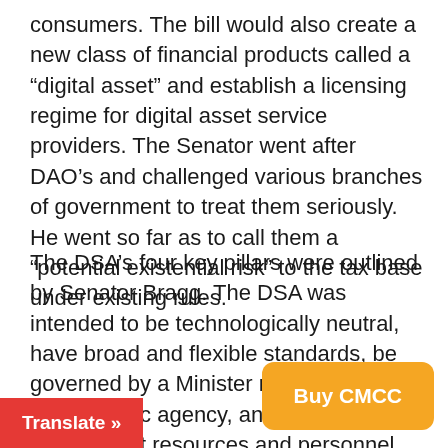consumers. The bill would also create a new class of financial products called a “digital asset” and establish a licensing regime for digital asset service providers. The Senator went after DAO’s and challenged various branches of government to treat them seriously. He went so far as to call them a “potential existential risk” to the tax base under existing rules.
The DSA’s four key pillars were outlined by Senator Bragg. The DSA was intended to be technologically neutral, have broad and flexible standards, be governed by a Minister rather than a bureaucratic agency, and make use of government resources and personnel, according to its creator. The Australian government is considering providing crypto investors with financial assistance to help new [obscured] the [obscured] and increase local c[obscured] [obscured] would assist Australia in